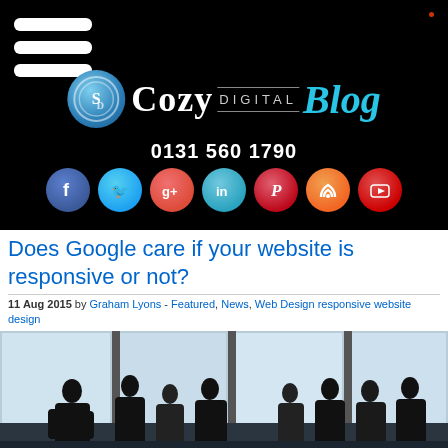[Figure (screenshot): Black header with hamburger menu icon (three white horizontal bars), Cozy Digital Blog logo with circular icon, phone number 0131 560 1790, and social media icons (Facebook, Twitter, Google+, LinkedIn, Pinterest, RSS, YouTube)]
Does Google care if your website is responsive or not?
11 Aug 2015 by Graham Lyons - Featured, News, Web Design responsive website design
[Figure (photo): Silhouette of business people standing in front of large windows with bright light, in a modern building interior]